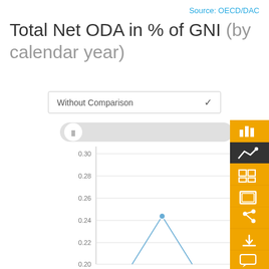Source: OECD/DAC
Total Net ODA in % of GNI (by calendar year)
[Figure (screenshot): Dropdown selector showing 'Without Comparison' with a chevron/down arrow on the right]
[Figure (line-chart): Line chart showing Total Net ODA in % of GNI by calendar year. Y-axis from 0.20 to 0.30 with gridlines at 0.20, 0.22, 0.24, 0.26, 0.28, 0.30. A blue line with a single visible data point peak at approximately 0.241. Toolbar on the right with icons for bar chart (selected/gold), line chart (dark/active), table, layers, share, download, and comment.]